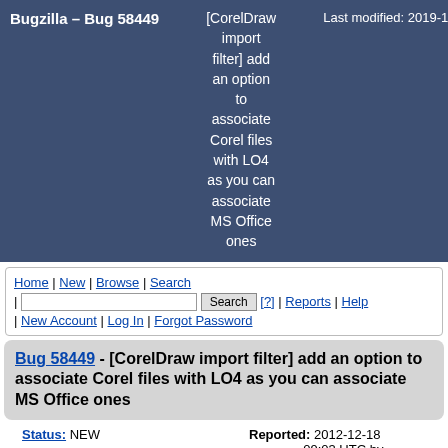Bugzilla – Bug 58449 | [CorelDraw import filter] add an option to associate Corel files with LO4 as you can associate MS Office ones | Last modified: 2019-11-29 13:27:26 UTC
Home | New | Browse | Search | [search box] Search [?] | Reports | Help | New Account | Log In | Forgot Password
Bug 58449 - [CorelDraw import filter] add an option to associate Corel files with LO4 as you can associate MS Office ones
| Field | Value |
| --- | --- |
| Status: | NEW |
| Alias: | None |
| Product: | LibreOffice |
| Reported: | 2012-12-18 09:03 UTC by VX |
| Modified: | 2019-11-29 13:27 UTC (History) |